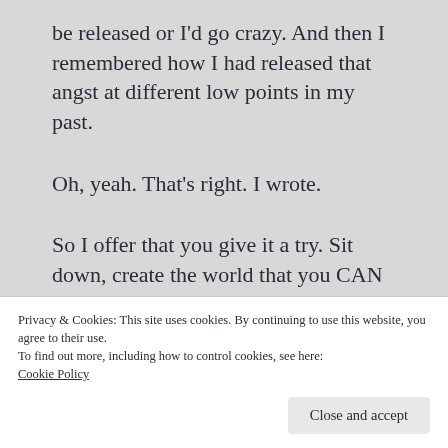be released or I'd go crazy. And then I remembered how I had released that angst at different low points in my past.
Oh, yeah. That's right. I wrote.
So I offer that you give it a try. Sit down, create the world that you CAN control and say what you have to say. As Walt Disney wrote, “That’s what we storytellers do. We restore order with imagination. We instill hope again
Privacy & Cookies: This site uses cookies. By continuing to use this website, you agree to their use.
To find out more, including how to control cookies, see here:
Cookie Policy
Close and accept